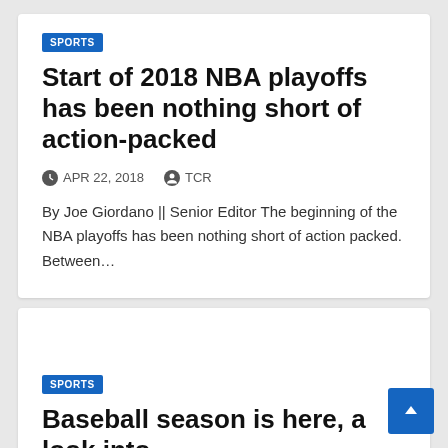SPORTS
Start of 2018 NBA playoffs has been nothing short of action-packed
APR 22, 2018   TCR
By Joe Giordano || Senior Editor The beginning of the NBA playoffs has been nothing short of action packed. Between…
SPORTS
Baseball season is here, a look into